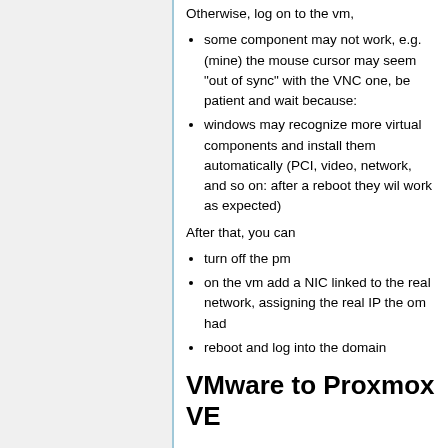Otherwise, log on to the vm,
some component may not work, e.g. (mine) the mouse cursor may seem "out of sync" with the VNC one, be patient and wait because:
windows may recognize more virtual components and install them automatically (PCI, video, network, and so on: after a reboot they wil work as expected)
After that, you can
turn off the pm
on the vm add a NIC linked to the real network, assigning the real IP the om had
reboot and log into the domain
VMware to Proxmox VE